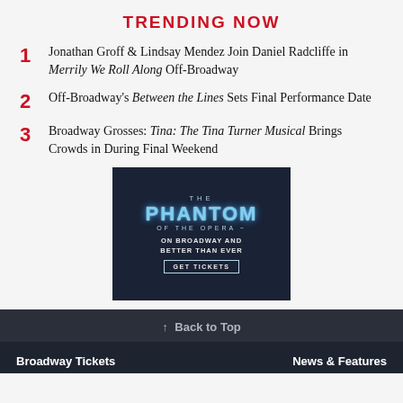TRENDING NOW
1 Jonathan Groff & Lindsay Mendez Join Daniel Radcliffe in Merrily We Roll Along Off-Broadway
2 Off-Broadway's Between the Lines Sets Final Performance Date
3 Broadway Grosses: Tina: The Tina Turner Musical Brings Crowds in During Final Weekend
[Figure (photo): Advertisement for The Phantom of the Opera on Broadway with dark background and text 'THE PHANTOM OF THE OPERA - ON BROADWAY AND BETTER THAN EVER' with a GET TICKETS button]
↑ Back to Top
Broadway Tickets   News & Features